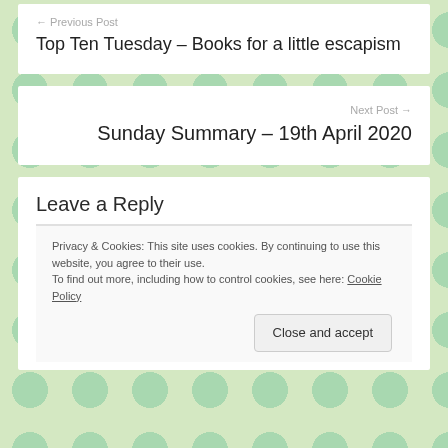← Previous Post
Top Ten Tuesday – Books for a little escapism
Next Post →
Sunday Summary – 19th April 2020
Leave a Reply
Privacy & Cookies: This site uses cookies. By continuing to use this website, you agree to their use. To find out more, including how to control cookies, see here: Cookie Policy
Close and accept